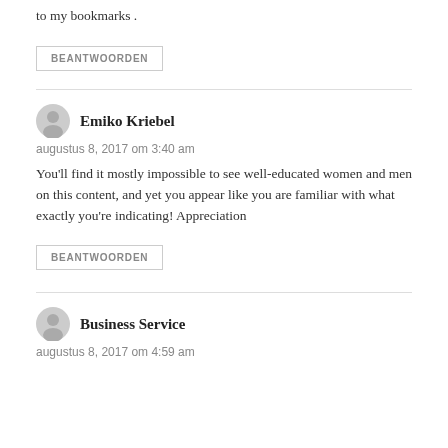to my bookmarks .
BEANTWOORDEN
Emiko Kriebel
augustus 8, 2017 om 3:40 am
You'll find it mostly impossible to see well-educated women and men on this content, and yet you appear like you are familiar with what exactly you're indicating! Appreciation
BEANTWOORDEN
Business Service
augustus 8, 2017 om 4:59 am